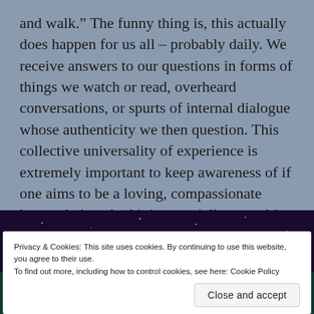and walk.” The funny thing is, this actually does happen for us all – probably daily. We receive answers to our questions in forms of things we watch or read, overheard conversations, or spurts of internal dialogue whose authenticity we then question. This collective universality of experience is extremely important to keep awareness of if one aims to be a loving, compassionate human being. And it is especially something to be aware of as we enter this Aries Full Moon.
[Figure (illustration): Dark cosmic/astrological illustration with zodiac symbols visible at the bottom, dark purple starfield at top, teal background with orange and teal zodiac glyphs.]
Privacy & Cookies: This site uses cookies. By continuing to use this website, you agree to their use.
To find out more, including how to control cookies, see here: Cookie Policy
Close and accept